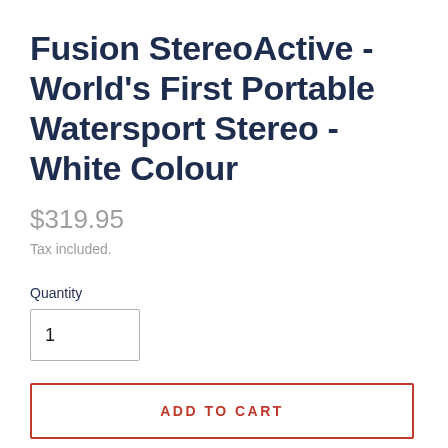Fusion StereoActive - World's First Portable Watersport Stereo - White Colour
$319.95
Tax included.
Quantity
1
ADD TO CART